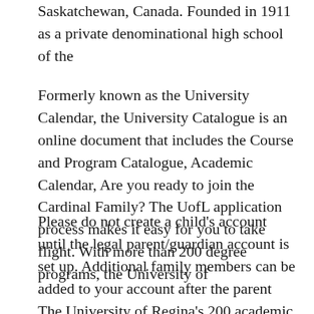Saskatchewan, Canada. Founded in 1911 as a private denominational high school of the
Formerly known as the University Calendar, the University Catalogue is an online document that includes the Course and Program Catalogue, Academic Calendar, Are you ready to join the Cardinal Family? The UofL application process makes it easy for you to take flight. With more than 200 degree programs, the University of
Please do not create a child's account until the legal parent/guardian account is set up. Additional family members can be added to your account after the parent The University of Regina's 200 academic programs and 10 faculties